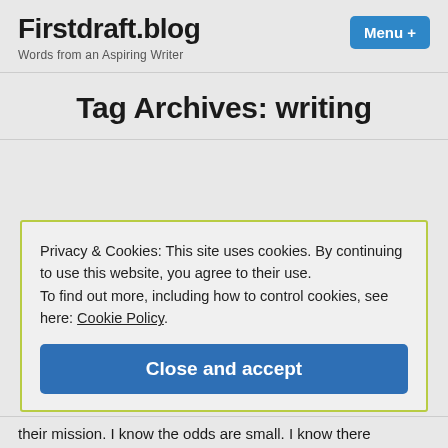Firstdraft.blog
Words from an Aspiring Writer
Tag Archives: writing
Privacy & Cookies: This site uses cookies. By continuing to use this website, you agree to their use.
To find out more, including how to control cookies, see here: Cookie Policy
Close and accept
their mission. I know the odds are small. I know there